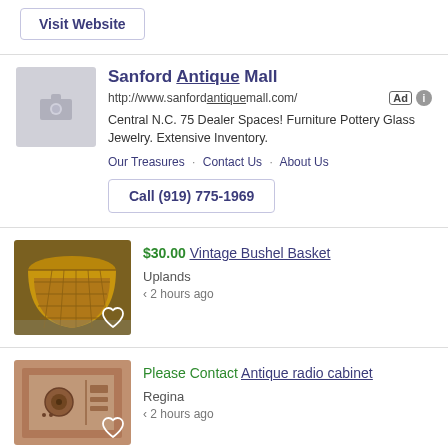Visit Website
Sanford Antique Mall
http://www.sanfordantiquemall.com/
Central N.C. 75 Dealer Spaces! Furniture Pottery Glass Jewelry. Extensive Inventory.
Our Treasures · Contact Us · About Us
Call (919) 775-1969
$30.00 Vintage Bushel Basket
Uplands
‹ 2 hours ago
Please Contact Antique radio cabinet
Regina
‹ 2 hours ago